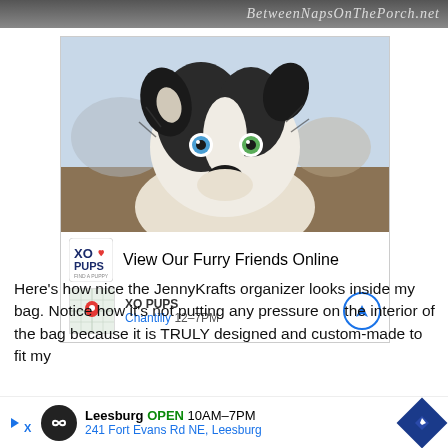BetweenNapsOnThePorch.net
[Figure (photo): Advertisement banner showing a black and white Border Collie puppy with heterochromia (one blue eye, one green eye) looking at the camera, with XO Pups branding. Headline: 'View Our Furry Friends Online'. Location: XO PUPS, Chantilly 12-7PM.]
Here's how nice the JennyKrafts organizer looks inside my bag. Notice how it's not putting any pressure on the interior of the bag because it is TRULY designed and custom-made to fit my bag and well-made of
[Figure (infographic): Bottom advertisement banner: Leesburg OPEN 10AM-7PM, 241 Fort Evans Rd NE, Leesburg, with navigation arrow and infinity loop icon.]